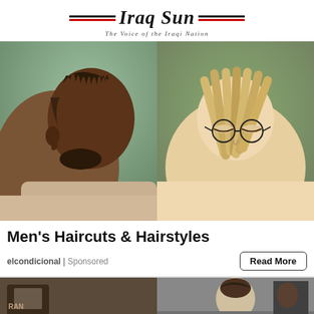Iraq Sun — The Voice of the Iraqi Nation
[Figure (photo): Two men with dreadlock/braid hairstyles side by side — left: Black man with dark braids seen from behind/side; right: Asian man with long blonde dreadlocks, wearing round glasses, shirtless, looking down]
Men's Haircuts & Hairstyles
elcondicional | Sponsored
[Figure (photo): Partial view of men's hairstyle images — barber shop scene with styled hair]